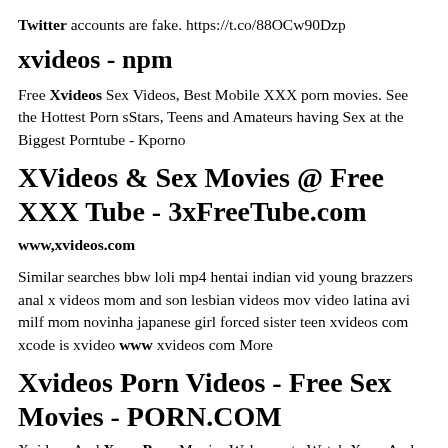Twitter accounts are fake. https://t.co/88OCw90Dzp
xvideos - npm
Free Xvideos Sex Videos, Best Mobile XXX porn movies. See the Hottest Porn sStars, Teens and Amateurs having Sex at the Biggest Porntube - Kporno
XVideos & Sex Movies @ Free XXX Tube - 3xFreeTube.com
www,xvideos.com
Similar searches bbw loli mp4 hentai indian vid young brazzers anal x videos mom and son lesbian videos mov video latina avi milf mom novinha japanese girl forced sister teen xvideos com xcode is xvideo www xvideos com More
Xvideos Porn Videos - Free Sex Movies - PORN.COM
Xvideos And Xnxx Porn Movies Welcome to Watch Xnxx And